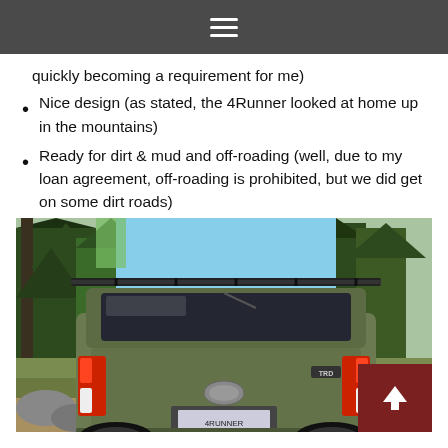quickly becoming a requirement for me)
Nice design (as stated, the 4Runner looked at home up in the mountains)
Ready for dirt & mud and off-roading (well, due to my loan agreement, off-roading is prohibited, but we did get on some dirt roads)
[Figure (photo): Rear view of an army green Toyota 4Runner SUV with a roof rack, parked in a forested mountain setting with pine trees and rocks in the background.]